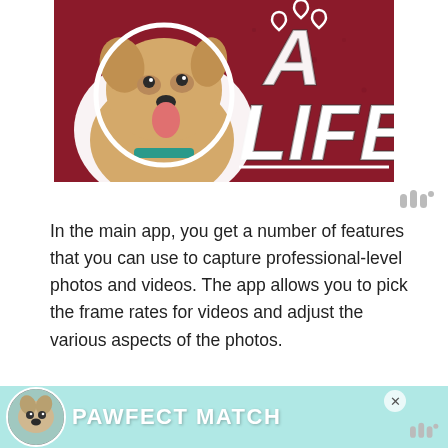[Figure (illustration): Advertisement banner showing a golden/tan pit bull dog on a dark red/crimson background with heart outlines and bold white italic text reading 'A LIFE' with a white underline]
In the main app, you get a number of features that you can use to capture professional-level photos and videos. The app allows you to pick the frame rates for videos and adjust the various aspects of the photos.
On top of that, it comes with 60 filters and various adjustment tools that you can use to
[Figure (illustration): Advertisement banner at the bottom: teal/cyan background with a small white dog photo on the left and bold white text 'PAWFECT MATCH', with a close X button and Willow icon on the right]